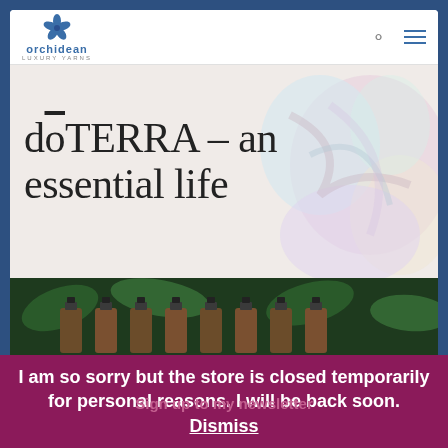[Figure (screenshot): Orchidean Luxury Yarns website logo with blue orchid icon]
dōTERRA – an essential life
by Abby | Jul 17, 2018 | dōTERRA, General News | 0 comments
[Figure (photo): Row of essential oil bottles with dark caps on green leafy background]
I am so sorry but the store is closed temporarily for personal reasons. I will be back soon. Dismiss